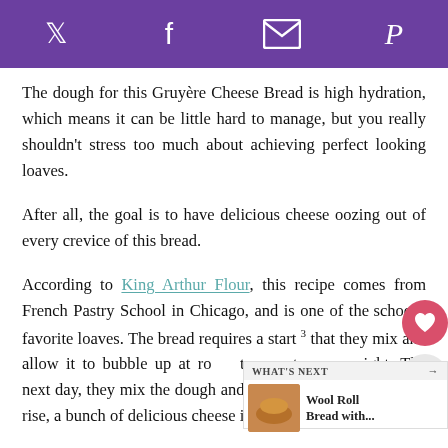Social media icons: Twitter, Facebook, Email, Pinterest
The dough for this Gruyère Cheese Bread is high hydration, which means it can be little hard to manage, but you really shouldn't stress too much about achieving perfect looking loaves.
After all, the goal is to have delicious cheese oozing out of every crevice of this bread.
According to King Arthur Flour, this recipe comes from French Pastry School in Chicago, and is one of the school's favorite loaves. The bread requires a start 3 that they mix and allow it to bubble up at ro temperature overnight. The next day, they mix the dough and knead it, and after the first rise, a bunch of delicious cheese into the dough, like a giant